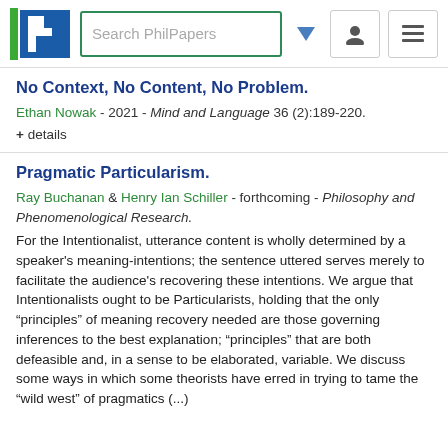[Figure (logo): PhilPapers logo — green and blue stylized P with search bar, dropdown arrow, user icon, and hamburger menu]
No Context, No Content, No Problem.
Ethan Nowak - 2021 - Mind and Language 36 (2):189-220.
+ details
Pragmatic Particularism.
Ray Buchanan & Henry Ian Schiller - forthcoming - Philosophy and Phenomenological Research.
For the Intentionalist, utterance content is wholly determined by a speaker's meaning-intentions; the sentence uttered serves merely to facilitate the audience's recovering these intentions. We argue that Intentionalists ought to be Particularists, holding that the only "principles" of meaning recovery needed are those governing inferences to the best explanation; "principles" that are both defeasible and, in a sense to be elaborated, variable. We discuss some ways in which some theorists have erred in trying to tame the "wild west" of pragmatics (...)